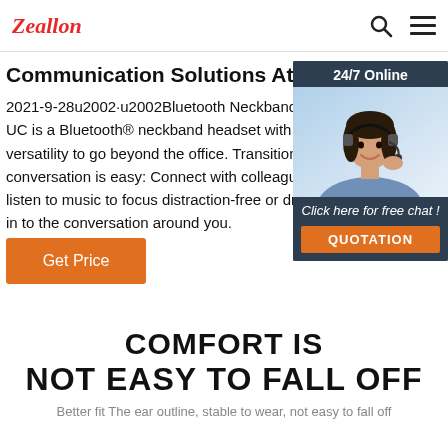[Figure (logo): Zeallon logo in red italic text]
Communication Solutions At the Desk - Phones &
2021-9-28u2002·u2002Bluetooth Neckband Heads UC is a Bluetooth® neckband headset with earbu versatility to go beyond the office. Transitioning to conversation is easy: Connect with colleagues wo listen to music to focus distraction-free or drop in to the conversation around you.
[Figure (infographic): 24/7 Online chat widget showing a woman with headset and buttons for free chat and quotation]
Get Price
COMFORT IS NOT EASY TO FALL OFF
Better fit The ear outline, stable to wear, not easy to fall off